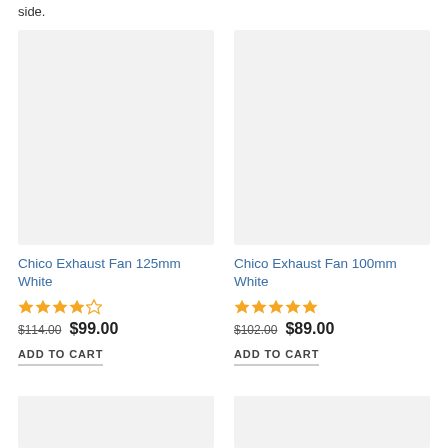side.
[Figure (photo): Product image placeholder for Chico Exhaust Fan 125mm White - light grey square]
Chico Exhaust Fan 125mm White
★★★★☆ $114.00 $99.00 ADD TO CART
[Figure (photo): Product image placeholder for Chico Exhaust Fan 100mm White - light grey square]
Chico Exhaust Fan 100mm White
★★★★★ $102.00 $89.00 ADD TO CART
[Figure (photo): Bottom left product image placeholder - light grey]
[Figure (photo): Bottom right product image placeholder - light grey]